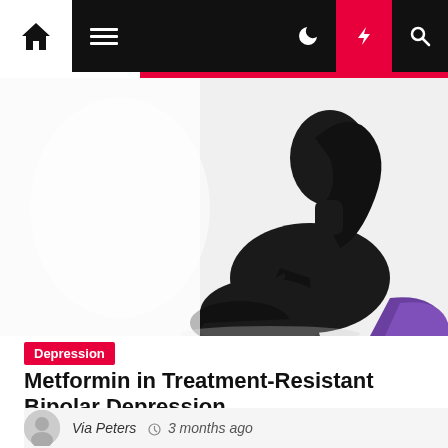Navigation bar with home, menu, dark mode, lightning/trending, and search icons
[Figure (photo): Black and white silhouette photograph of a woman sitting with knees drawn up, head down, in a pensive or depressed pose against a white background. A purple object is partially visible at the bottom right.]
Depression
Metformin in Treatment-Resistant Bipolar Depression
Via Peters  3 months ago